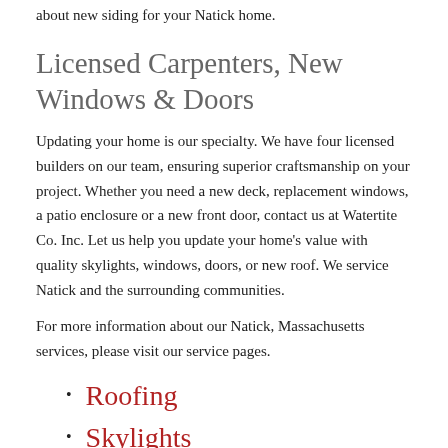about new siding for your Natick home.
Licensed Carpenters, New Windows & Doors
Updating your home is our specialty. We have four licensed builders on our team, ensuring superior craftsmanship on your project. Whether you need a new deck, replacement windows, a patio enclosure or a new front door, contact us at Watertite Co. Inc. Let us help you update your home's value with quality skylights, windows, doors, or new roof. We service Natick and the surrounding communities.
For more information about our Natick, Massachusetts services, please visit our service pages.
Roofing
Skylights